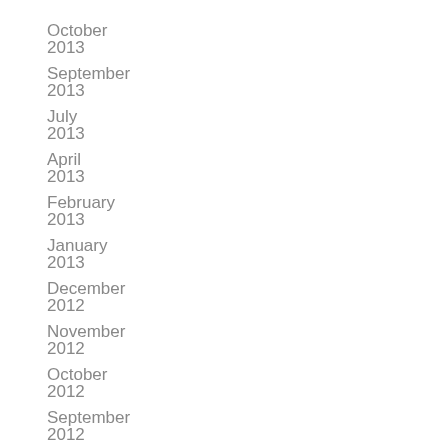October 2013
September 2013
July 2013
April 2013
February 2013
January 2013
December 2012
November 2012
October 2012
September 2012
August 2012
May 2013